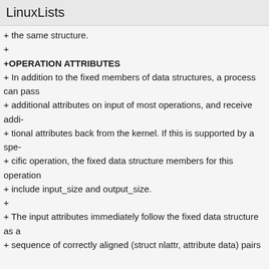LinuxLists
+ the same structure.
+
+OPERATION ATTRIBUTES
+ In addition to the fixed members of data structures, a process can pass
+ additional attributes on input of most operations, and receive addi-
+ tional attributes back from the kernel. If this is supported by a spe-
+ cific operation, the fixed data structure members for this operation
+ include input_size and output_size.
+
+ The input attributes immediately follow the fixed data structure as a
+ sequence of correctly aligned (struct nlattr, attribute data) pairs